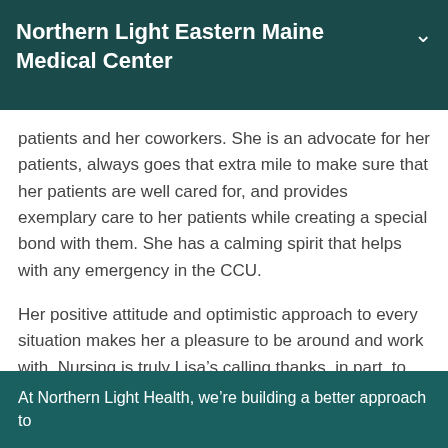Northern Light Eastern Maine Medical Center
patients and her coworkers. She is an advocate for her patients, always goes that extra mile to make sure that her patients are well cared for, and provides exemplary care to her patients while creating a special bond with them. She has a calming spirit that helps with any emergency in the CCU.
Her positive attitude and optimistic approach to every situation makes her a pleasure to be around and work with. Nursing is truly Lisa’s calling thanks, in part, to her desire to care for, serve, and help every patient that she encounters.
At Northern Light Health, we’re building a better approach to